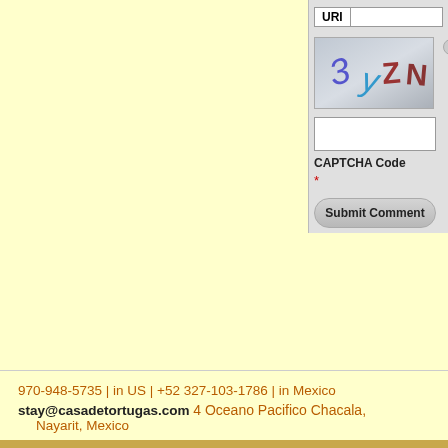[Figure (screenshot): CAPTCHA image with distorted characters '3y ZN' on a grey background]
CAPTCHA Code
*
Submit Comment
Start Planning Your F...
970-948-5735 | in US | +52 327-103-1786 | in Mexico
stay@casadetortugas.com 4 Oceano Pacifico Chacala, Nayarit, Mexico